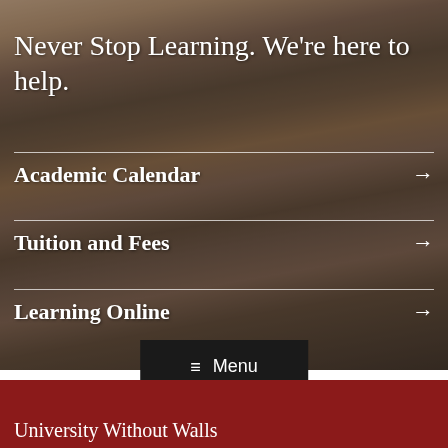Never Stop Learning. We're here to help.
Academic Calendar →
Tuition and Fees →
Learning Online →
≡ Menu
University Without Walls